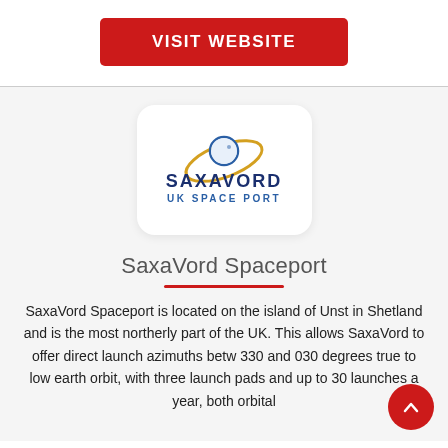[Figure (other): Red 'VISIT WEBSITE' button with white bold uppercase text on a red rounded rectangle background]
[Figure (logo): SaxaVord UK Space Port logo: circular orbit graphic in blue and orange/gold above bold navy text 'SAXAVORD' and lighter blue 'UK SPACE PORT']
SaxaVord Spaceport
SaxaVord Spaceport is located on the island of Unst in Shetland and is the most northerly part of the UK. This allows SaxaVord to offer direct launch azimuths betw 330 and 030 degrees true to low earth orbit, with three launch pads and up to 30 launches a year, both orbital